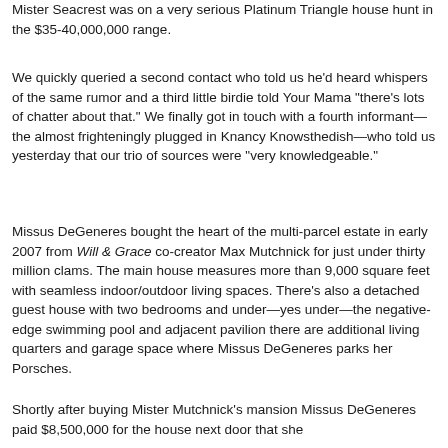Mister Seacrest was on a very serious Platinum Triangle house hunt in the $35-40,000,000 range.
We quickly queried a second contact who told us he'd heard whispers of the same rumor and a third little birdie told Your Mama "there's lots of chatter about that." We finally got in touch with a fourth informant—the almost frighteningly plugged in Knancy Knowsthedish—who told us yesterday that our trio of sources were "very knowledgeable."
Missus DeGeneres bought the heart of the multi-parcel estate in early 2007 from Will & Grace co-creator Max Mutchnick for just under thirty million clams. The main house measures more than 9,000 square feet with seamless indoor/outdoor living spaces. There's also a detached guest house with two bedrooms and under—yes under—the negative-edge swimming pool and adjacent pavilion there are additional living quarters and garage space where Missus DeGeneres parks her Porsches.
Shortly after buying Mister Mutchnick's mansion Missus DeGeneres paid $8,500,000 for the house next door that she